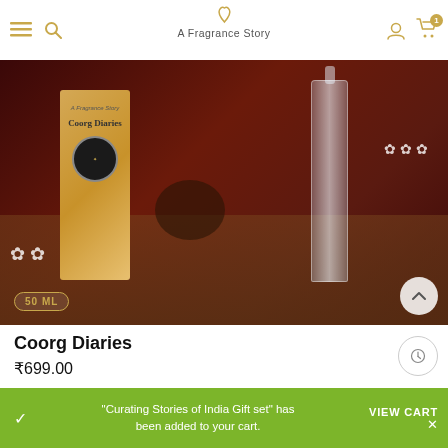A Fragrance Story
[Figure (photo): Product photo of Coorg Diaries perfume box and bottle with coffee beans, white flowers, and fruits on a dark brown background. A badge reads '50 ML'.]
Coorg Diaries
₹699.00
"Curating Stories of India Gift set" has been added to your cart.
VIEW CART